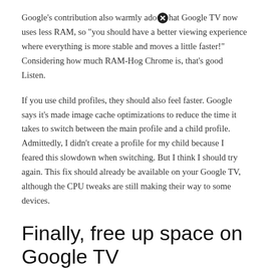Google's contribution also warmly add that Google TV now uses less RAM, so "you should have a better viewing experience where everything is more stable and moves a little faster!" Considering how much RAM-Hog Chrome is, that's good Listen.
If you use child profiles, they should also feel faster. Google says it's made image cache optimizations to reduce the time it takes to switch between the main profile and a child profile. Admittedly, I didn't create a profile for my child because I feared this slowdown when switching. But I think I should try again. This fix should already be available on your Google TV, although the CPU tweaks are still making their way to some devices.
Finally, free up space on Google TV
The Google TV with Chromecast dongle is notorious for its onboard storage limitations. You don't think about it until you come across it, but at that point